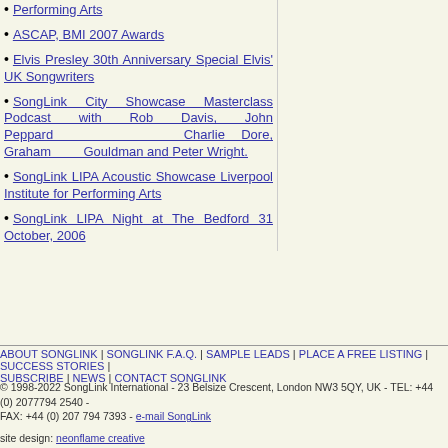Performing Arts
ASCAP, BMI 2007 Awards
Elvis Presley 30th Anniversary Special Elvis' UK Songwriters
SongLink City Showcase Masterclass Podcast with Rob Davis, John Peppard Charlie Dore, Graham Gouldman and Peter Wright.
SongLink LIPA Acoustic Showcase Liverpool Institute for Performing Arts
SongLink LIPA Night at The Bedford 31 October, 2006
ABOUT SONGLINK | SONGLINK F.A.Q. | SAMPLE LEADS | PLACE A FREE LISTING | SUCCESS STORIES | SUBSCRIBE | NEWS | CONTACT SONGLINK
© 1998-2022 SongLink International - 23 Belsize Crescent, London NW3 5QY, UK - TEL: +44 (0) 2077942540 - FAX: +44 (0) 207 794 7393 - e-mail SongLink
site design: neonflame creative